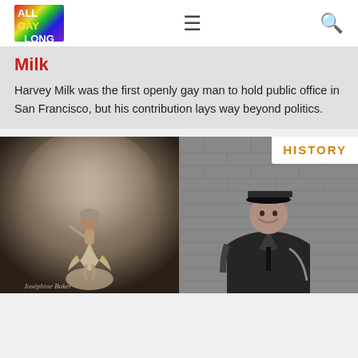ALL GAY LONG
Milk
Harvey Milk was the first openly gay man to hold public office in San Francisco, but his contribution lays way beyond politics.
[Figure (photo): Vintage black and white photo of a woman in 1920s dance costume posed on a globe, with signature reading 'Josephine Baker']
[Figure (photo): Black and white photo of a woman in military-style uniform and cap, smiling, against a brick wall background]
HISTORY